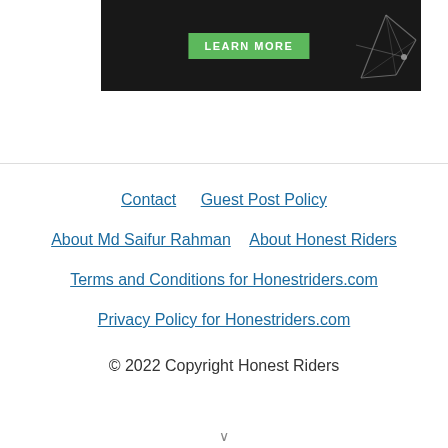[Figure (screenshot): Dark banner with green 'LEARN MORE' button and geometric line illustration on the right]
Contact   Guest Post Policy   About Md Saifur Rahman   About Honest Riders   Terms and Conditions for Honestriders.com   Privacy Policy for Honestriders.com   © 2022 Copyright Honest Riders